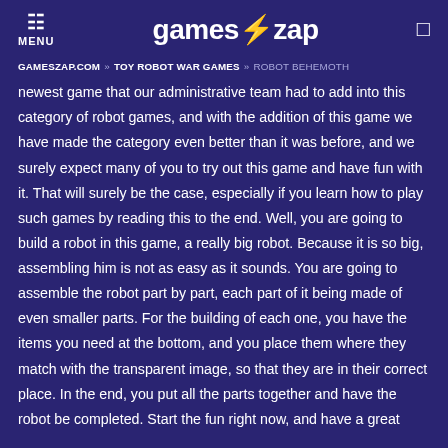MENU | gameszap | [search icon]
GAMESZAP.COM » TOY ROBOT WAR GAMES » ROBOT BEHEMOTH
newest game that our administrative team had to add into this category of robot games, and with the addition of this game we have made the category even better than it was before, and we surely expect many of you to try out this game and have fun with it. That will surely be the case, especially if you learn how to play such games by reading this to the end. Well, you are going to build a robot in this game, a really big robot. Because it is so big, assembling him is not as easy as it sounds. You are going to assemble the robot part by part, each part of it being made of even smaller parts. For the building of each one, you have the items you need at the bottom, and you place them where they match with the transparent image, so that they are in their correct place. In the end, you put all the parts together and have the robot be completed. Start the fun right now, and have a great